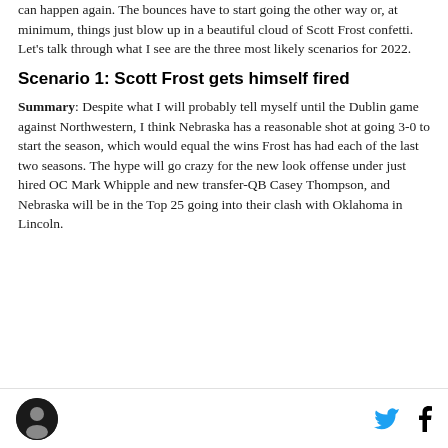can happen again. The bounces have to start going the other way or, at minimum, things just blow up in a beautiful cloud of Scott Frost confetti. Let's talk through what I see are the three most likely scenarios for 2022.
Scenario 1: Scott Frost gets himself fired
Summary: Despite what I will probably tell myself until the Dublin game against Northwestern, I think Nebraska has a reasonable shot at going 3-0 to start the season, which would equal the wins Frost has had each of the last two seasons. The hype will go crazy for the new look offense under just hired OC Mark Whipple and new transfer-QB Casey Thompson, and Nebraska will be in the Top 25 going into their clash with Oklahoma in Lincoln.
[logo] [twitter] [facebook]